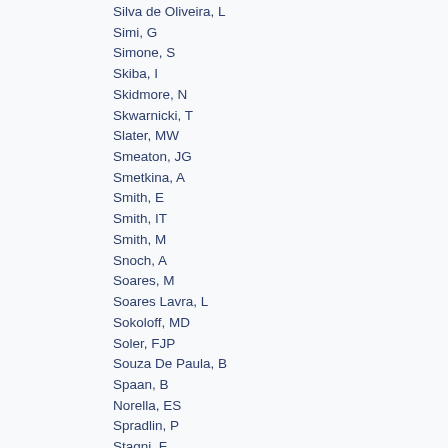Silva de Oliveira, L
Simi, G
Simone, S
Skiba, I
Skidmore, N
Skwarnicki, T
Slater, MW
Smeaton, JG
Smetkina, A
Smith, E
Smith, IT
Smith, M
Snoch, A
Soares, M
Soares Lavra, L
Sokoloff, MD
Soler, FJP
Souza De Paula, B
Spaan, B
Norella, ES
Spradlin, P
Stagni, F
Stahl, M
Stahl, S
Stefko, P
Stefkova, S